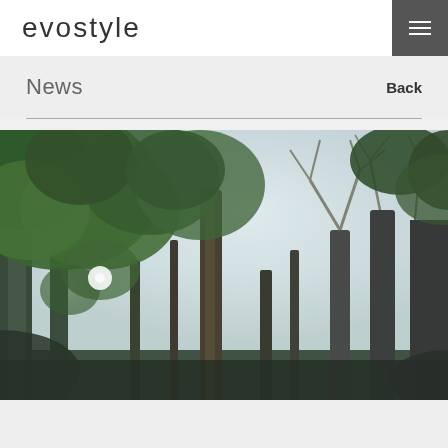evostyle
News
Back
[Figure (photo): Upward-looking photograph through a dense tropical forest canopy. Tall trees with green foliage reach toward a bright sky. Sunlight streams through the left side of the image. The trees are a mix of broad-leafed tropical species and bare-branched trees. A central tree trunk rises through the middle of the composition.]